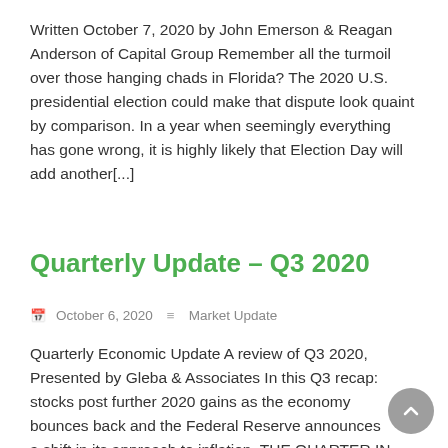Written October 7, 2020 by John Emerson & Reagan Anderson of Capital Group Remember all the turmoil over those hanging chads in Florida? The 2020 U.S. presidential election could make that dispute look quaint by comparison. In a year when seemingly everything has gone wrong, it is highly likely that Election Day will add another[...]
Quarterly Update – Q3 2020
October 6, 2020   Market Update
Quarterly Economic Update A review of Q3 2020, Presented by Gleba & Associates In this Q3 recap: stocks post further 2020 gains as the economy bounces back and the Federal Reserve announces a shift in its approach to inflation. THE QUARTER IN